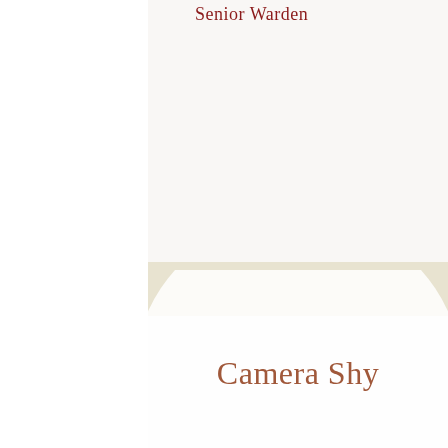Senior Warden
[Figure (illustration): Large light circle/disc shape overlapping a beige horizontal band, suggesting a placeholder for a photo or portrait. Background is light pinkish-grey.]
Camera Shy